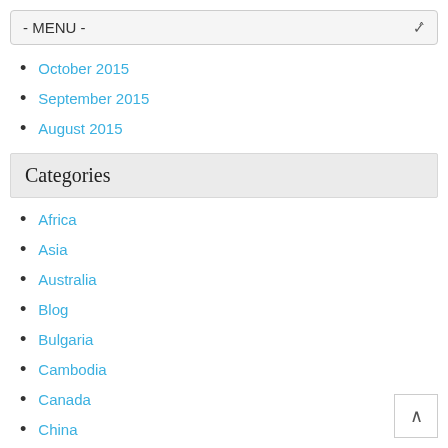- MENU -
October 2015
September 2015
August 2015
Categories
Africa
Asia
Australia
Blog
Bulgaria
Cambodia
Canada
China
Dubai
Egypt